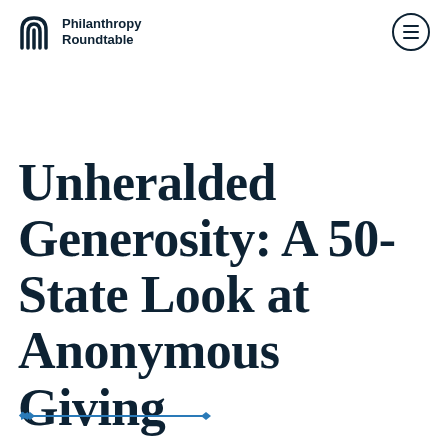[Figure (logo): Philanthropy Roundtable logo with arch icon and organization name]
Unheralded Generosity: A 50-State Look at Anonymous Giving
[Figure (illustration): Blue horizontal line with diamond shapes at each end, decorative divider]